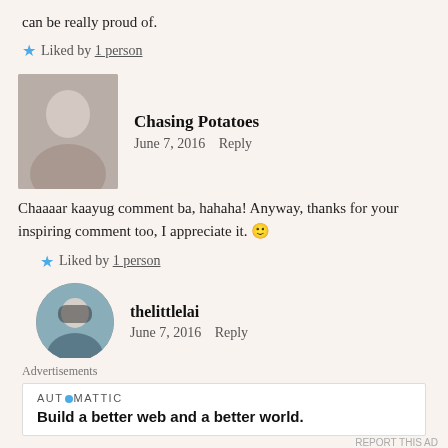can be really proud of.
★ Liked by 1 person
Chasing Potatoes
June 7, 2016  Reply
Chaaaar kaayug comment ba, hahaha! Anyway, thanks for your inspiring comment too, I appreciate it. 🙂
★ Liked by 1 person
thelittlelai
June 7, 2016  Reply
Nalingaw ko sa Charrr mura ra ug Chair? Unsa bah?
Advertisements
AUTOMATTIC
Build a better web and a better world.